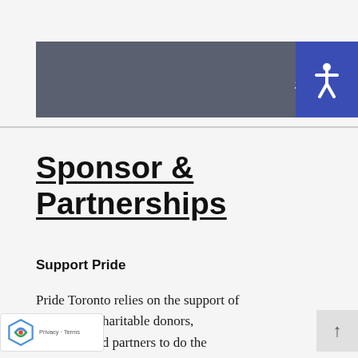Join Us >>
Sponsor & Partnerships
Support Pride
Pride Toronto relies on the support of r generous charitable donors, Sponsors and partners to do the